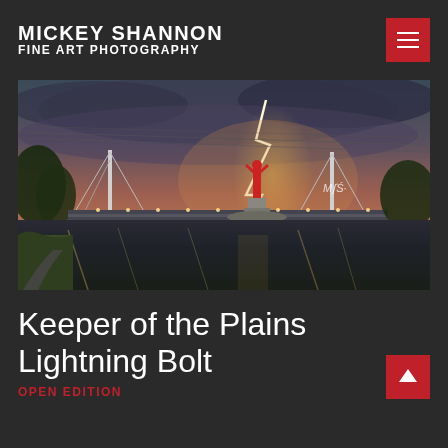MICKEY SHANNON FINE ART PHOTOGRAPHY
[Figure (photo): Panoramic night photograph of the Keeper of the Plains statue in Wichita, Kansas, with a dramatic lightning bolt striking behind the statue. The scene includes a pedestrian bridge over a river, reflected city lights on the water, and a stormy sky with orange glow from the lightning. The photographer's signature is visible in white script on the right side of the image.]
Keeper of the Plains Lightning Bolt
OPEN EDITION